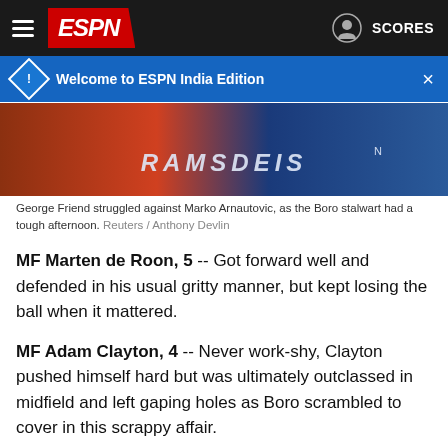ESPN
Welcome to ESPN India Edition
[Figure (photo): Player wearing RAMSDEIS jersey, close-up photo of football player in dark kit]
George Friend struggled against Marko Arnautovic, as the Boro stalwart had a tough afternoon. Reuters / Anthony Devlin
MF Marten de Roon, 5 -- Got forward well and defended in his usual gritty manner, but kept losing the ball when it mattered.
MF Adam Clayton, 4 -- Never work-shy, Clayton pushed himself hard but was ultimately outclassed in midfield and left gaping holes as Boro scrambled to cover in this scrappy affair.
MF Gaston Ramirez, 2 -- Ramirez was invisible in this game and was lucky that Karanka waited until half-time to remove